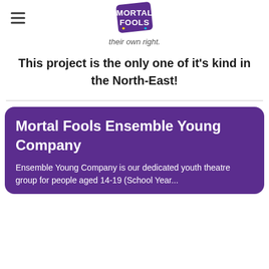Mortal Fools logo and hamburger menu
their own right.
This project is the only one of it's kind in the North-East!
Mortal Fools Ensemble Young Company
Ensemble Young Company is our dedicated youth theatre group for people aged 14-19 (School Year...